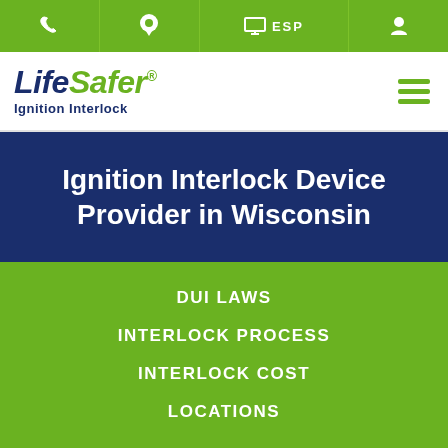Phone | Location | ESP | Account
[Figure (logo): LifeSafer Ignition Interlock logo with hamburger menu icon]
Ignition Interlock Device Provider in Wisconsin
DUI LAWS
INTERLOCK PROCESS
INTERLOCK COST
LOCATIONS